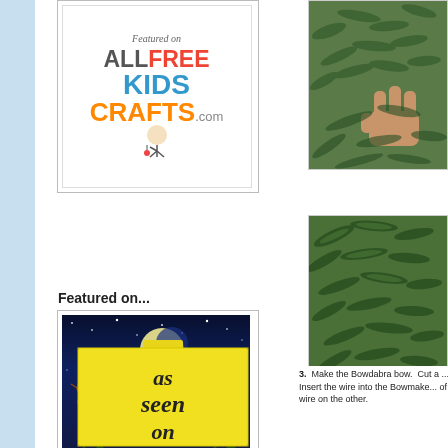[Figure (logo): Featured on AllFreeKidsCrafts.com logo badge with white background and colorful text]
Featured on...
[Figure (illustration): AllFreeChristmasCrafts.com banner featuring Santa in sleigh with reindeer against night sky]
[Figure (illustration): As Seen On sticky note style yellow badge]
[Figure (photo): Hands holding green pine/Christmas tree branches - top photo]
[Figure (photo): Green Christmas tree branches close-up - bottom photo]
3.  Make the Bowdabra bow.  Cut a ... Insert the wire into the Bowmake... of wire on the other.